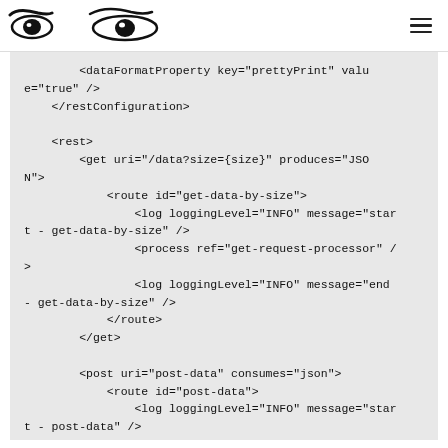Logo / navigation header
<dataFormatProperty key="prettyPrint" value="true" />
    </restConfiguration>

    <rest>
        <get uri="/data?size={size}" produces="JSON">
            <route id="get-data-by-size">
                <log loggingLevel="INFO" message="start - get-data-by-size" />
                <process ref="get-request-processor" />
                <log loggingLevel="INFO" message="end - get-data-by-size" />
            </route>
        </get>

        <post uri="post-data" consumes="json">
            <route id="post-data">
                <log loggingLevel="INFO" message="start - post-data" />